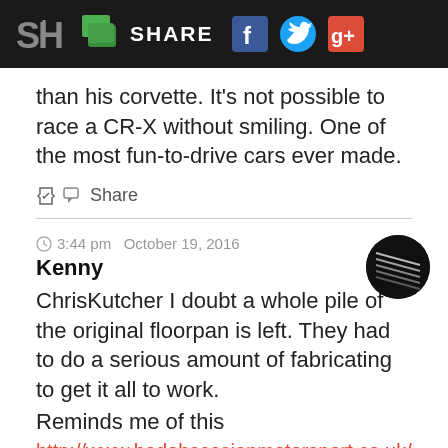SH | SHARE [Facebook] [Twitter] [Google+]
than his corvette. It's not possible to race a CR-X without smiling. One of the most fun-to-drive cars ever made.
Share
3:44 pm  October 19, 2016
Kenny
ChrisKutcher I doubt a whole pile of the original floorpan is left. They had to do a serious amount of fabricating to get it all to work.
Reminds me of this
http://www.badobsessionmotorsport.co.uk/category/projects/project-binky/
Share